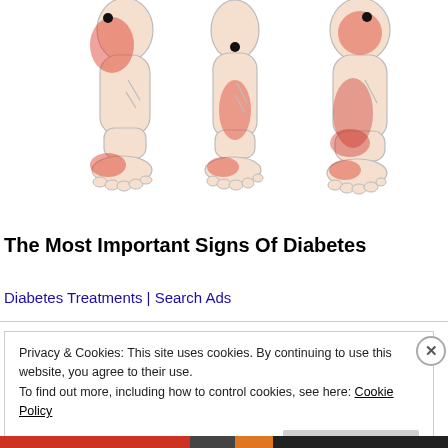[Figure (illustration): Three illustrated views of lower legs and feet showing areas of pain/inflammation highlighted in red, indicating diabetic symptoms. Each leg has a black dot marking a trigger point and red areas indicating pain zones around the calf and heel.]
The Most Important Signs Of Diabetes
Diabetes Treatments | Search Ads
Privacy & Cookies: This site uses cookies. By continuing to use this website, you agree to their use.
To find out more, including how to control cookies, see here: Cookie Policy
Close and accept